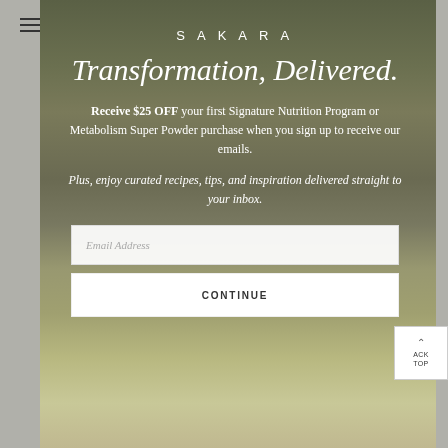[Figure (screenshot): Website modal popup for Sakara brand with food photo background showing hands with vegetables/nuts. Overlay modal with email signup form.]
SAKARA
Transformation, Delivered.
Receive $25 OFF your first Signature Nutrition Program or Metabolism Super Powder purchase when you sign up to receive our emails.
Plus, enjoy curated recipes, tips, and inspiration delivered straight to your inbox.
Email Address
CONTINUE